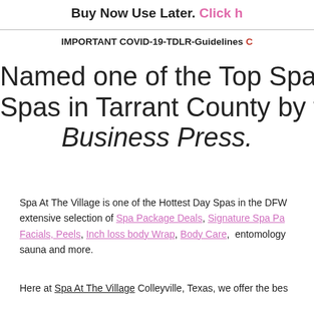Buy Now Use Later. Click h
IMPORTANT COVID-19-TDLR-Guidelines C
Named one of the Top Spa Spas in Tarrant County by th Business Press.
Spa At The Village is one of the Hottest Day Spas in the DFW extensive selection of Spa Package Deals, Signature Spa Pa Facials, Peels, Inch loss body Wrap, Body Care, entomology sauna and more.
Here at Spa At The Village Colleyville, Texas, we offer the bes